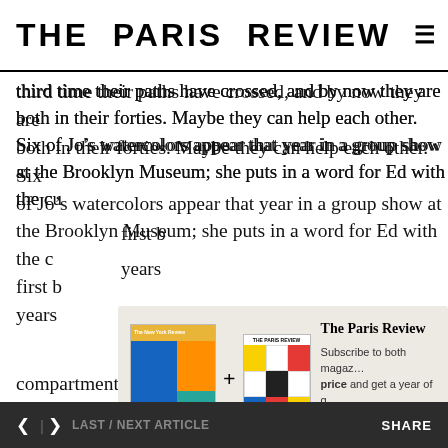THE PARIS REVIEW
third time their paths have crossed, and by now they are both in their forties. Maybe they can help each other. Six of Jo's watercolors appear that year in a group show at the Brooklyn Museum; she puts in a word for Ed with the c[uration…] first [time…] years[…]
This[…] show[…] his li[fe…] chara[cter…] alone[…]
[Figure (screenshot): Subscription overlay showing The New York Review and The Paris Review magazine covers with a + sign between them, headline 'The Paris Review', description text about subscribing to both magazines at a special price, and a blue 'Subscribe Now' button]
compartment, woman in the office at night, at a New York movie, a woman in the sun. She is painting, too—
< > LAST / NEXT ARTICLE   SHARE